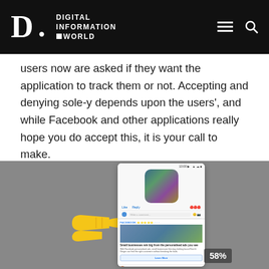Digital Information World
users now are asked if they want the application to track them or not. Accepting and denying sole-y depends upon the users', and while Facebook and other applications really hope you do accept this, it is your call to make.
[Figure (screenshot): Gray background image with a yellow pointing hand icon on the left, and a smartphone screenshot on the right showing a Facebook feed with a personalized ad reading 'Small businesses win big from the personalised ads you see'. A percentage badge showing '58%' is overlaid at the bottom right.]